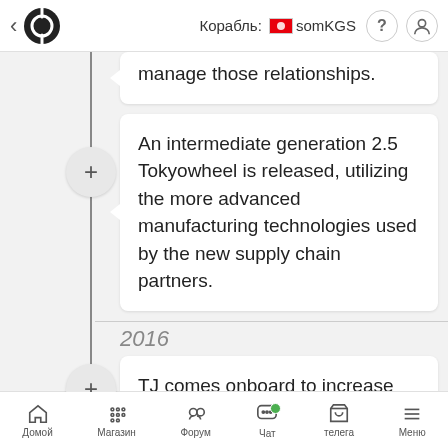Корабль: somKGS
manage those relationships.
An intermediate generation 2.5 Tokyowheel is released, utilizing the more advanced manufacturing technologies used by the new supply chain partners.
2016
TJ comes onboard to increase bandwidth prior to the release of the third generation wheels.
Домой  Магазин  Форум  Чат  телега  Меню